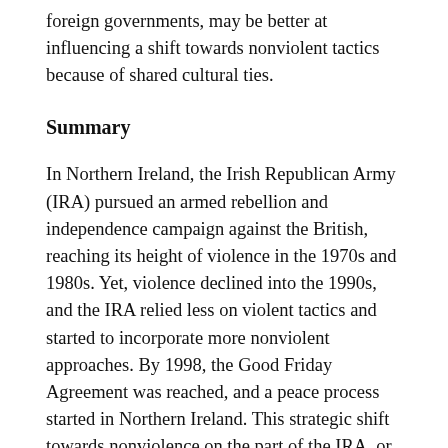foreign governments, may be better at influencing a shift towards nonviolent tactics because of shared cultural ties.
Summary
In Northern Ireland, the Irish Republican Army (IRA) pursued an armed rebellion and independence campaign against the British, reaching its height of violence in the 1970s and 1980s. Yet, violence declined into the 1990s, and the IRA relied less on violent tactics and started to incorporate more nonviolent approaches. By 1998, the Good Friday Agreement was reached, and a peace process started in Northern Ireland. This strategic shift towards nonviolence on the part of the IRA, or at least the incorporation of more nonviolent tactics, is witnessed in several other (formerly) armed resistance movements around the world—like Fatah in the Palestinian Territories, the Umma Liberation